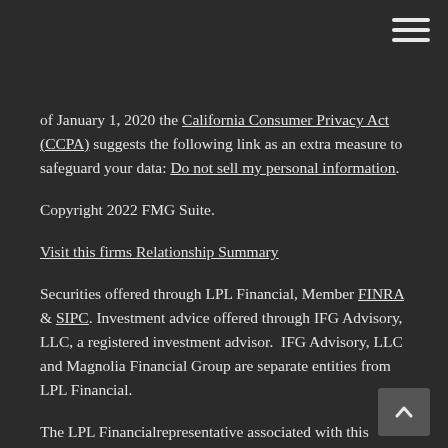of January 1, 2020 the California Consumer Privacy Act (CCPA) suggests the following link as an extra measure to safeguard your data: Do not sell my personal information.
Copyright 2022 FMG Suite.
Visit this firms Relationship Summary
Securities offered through LPL Financial, Member FINRA & SIPC. Investment advice offered through IFG Advisory, LLC, a registered investment advisor.  IFG Advisory, LLC and Magnolia Financial Group are separate entities from LPL Financial.
The LPL Financialrepresentative associated with this website may discuss and/or transact securities business only with residents of the following states: AL, CA, FL, GA, MI.